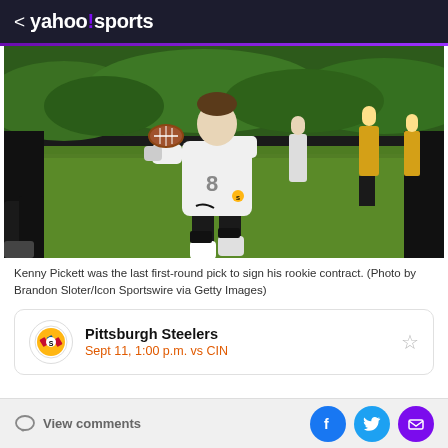< yahoo!sports
[Figure (photo): Kenny Pickett, Pittsburgh Steelers quarterback wearing number 8, holding a football in a throwing stance during outdoor practice. He wears a white jersey and black shorts. Other players visible in background on green turf.]
Kenny Pickett was the last first-round pick to sign his rookie contract. (Photo by Brandon Sloter/Icon Sportswire via Getty Images)
Pittsburgh Steelers
Sept 11, 1:00 p.m. vs CIN
View comments